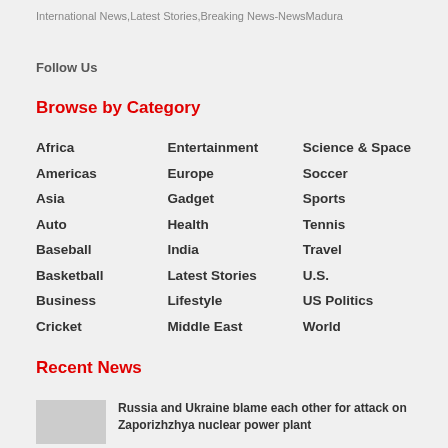International News,Latest Stories,Breaking News-NewsMadura
Follow Us
Browse by Category
Africa
Entertainment
Science & Space
Americas
Europe
Soccer
Asia
Gadget
Sports
Auto
Health
Tennis
Baseball
India
Travel
Basketball
Latest Stories
U.S.
Business
Lifestyle
US Politics
Cricket
Middle East
World
Recent News
Russia and Ukraine blame each other for attack on Zaporizhzhya nuclear power plant